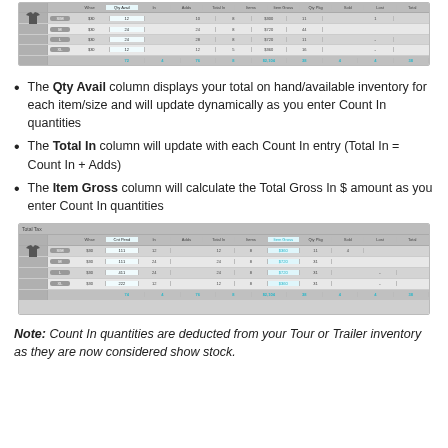[Figure (screenshot): Top screenshot of a spreadsheet/inventory table showing t-shirt items with columns for Qty Avail, Count In, Adds, Total In, Items, Item Gross, Qty Pkg, Sold, Lost, and Total. The Qty Avail column is highlighted. Rows show sizes S/M/L/XL with values and a totals row in cyan.]
The Qty Avail column displays your total on hand/available inventory for each item/size and will update dynamically as you enter Count In quantities
The Total In column will update with each Count In entry (Total In = Count In + Adds)
The Item Gross column will calculate the Total Gross In $ amount as you enter Count In quantities
[Figure (screenshot): Bottom screenshot of a spreadsheet/inventory table similar to the top one, showing t-shirt items with columns including Cnt Pend, In, Adds, Total In, Items, Item Gross (highlighted), Qty Pkg, Sold, Lost, and Total. Rows show sizes S/M/L/XL with values and a totals row in cyan.]
Note: Count In quantities are deducted from your Tour or Trailer inventory as they are now considered show stock.